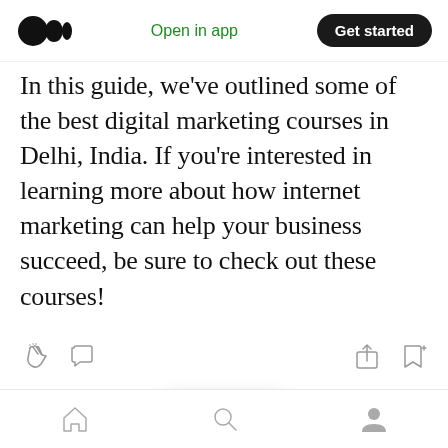[Figure (screenshot): Medium app navigation bar with logo, 'Open in app' link in green, and 'Get started' black pill button]
In this guide, we've outlined some of the best digital marketing courses in Delhi, India. If you're interested in learning more about how internet marketing can help your business succeed, be sure to check out these courses!
[Figure (screenshot): Article action bar with clap icon, comment icon on left; share and bookmark icons on right]
[Figure (screenshot): Floating pill with clap and comment icons]
[Figure (screenshot): Bottom navigation bar with home, search, and profile icons]